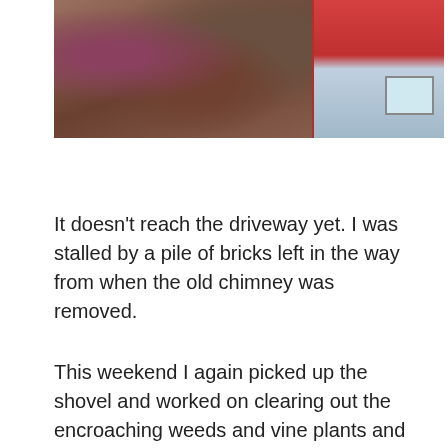[Figure (photo): Outdoor photo showing dense reddish-brown vegetation/vines in foreground with a building featuring red walls and a light blue/white window visible in the background right.]
It doesn't reach the driveway yet. I was stalled by a pile of bricks left in the way from when the old chimney was removed.
This weekend I again picked up the shovel and worked on clearing out the encroaching weeds and vine plants and dead leaves that were spilling over the backing up space. It's a handy spot to leave my car so I can just drive out and not back down the entire drive.
So here's today's work, tho I haven't shown the